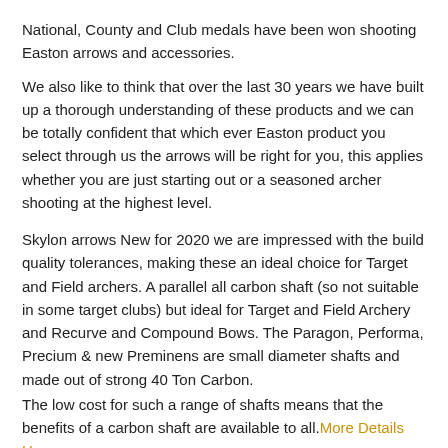National, County and Club medals have been won shooting Easton arrows and accessories.
We also like to think that over the last 30 years we have built up a thorough understanding of these products and we can be totally confident that which ever Easton product you select through us the arrows will be right for you, this applies whether you are just starting out or a seasoned archer shooting at the highest level.
Skylon arrows New for 2020 we are impressed with the build quality tolerances, making these an ideal choice for Target and Field archers. A parallel all carbon shaft (so not suitable in some target clubs) but ideal for Target and Field Archery and Recurve and Compound Bows. The Paragon, Performa, Precium & new Preminens are small diameter shafts and made out of strong 40 Ton Carbon.
The low cost for such a range of shafts means that the benefits of a carbon shaft are available to all. More Details Here
Carbon arrow selection for Compound Bows